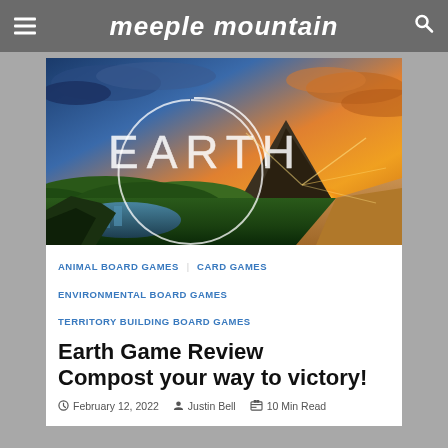meeple mountain
[Figure (photo): Scenic landscape at sunset with a mountain silhouette, green rolling hills, waterfalls in foreground, dramatic orange and blue sky. The word EARTH is superimposed in large decorative letters with a circular logo outline.]
ANIMAL BOARD GAMES
CARD GAMES
ENVIRONMENTAL BOARD GAMES
TERRITORY BUILDING BOARD GAMES
Earth Game Review
Compost your way to victory!
February 12, 2022   Justin Bell   10 Min Read